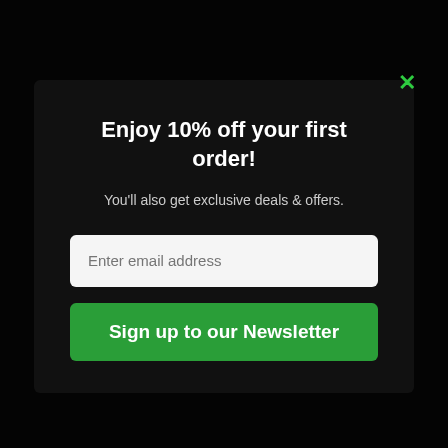[Figure (screenshot): Website newsletter signup modal popup overlay on a dark background. Modal contains a title, subtitle, email input field, and a green signup button. A green X close button appears in the top right of the modal.]
Enjoy 10% off your first order!
You'll also get exclusive deals & offers.
Enter email address
Sign up to our Newsletter